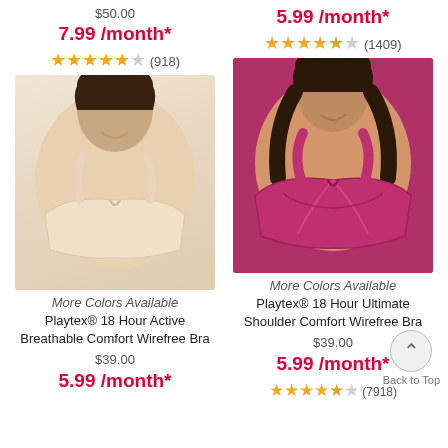$50.00
7.99 /month*
★★★★½ (918)
[Figure (photo): Woman wearing beige/nude wirefree bra from Playtex]
More Colors Available
Playtex® 18 Hour Active Breathable Comfort Wirefree Bra
$39.00
5.99 /month*
5.99 /month*
★★★★½ (1409)
[Figure (photo): Woman wearing magenta/pink wirefree bra from Playtex]
More Colors Available
Playtex® 18 Hour Ultimate Shoulder Comfort Wirefree Bra
$39.00
5.99 /month*
★★★★½ (7918)
Back to Top